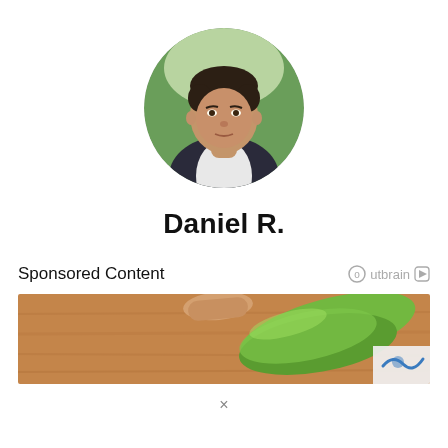[Figure (photo): Circular profile photo of a man in a dark blazer and white shirt, with short dark hair, outdoor background with blurred greenery]
Daniel R.
Sponsored Content
[Figure (illustration): Illustration showing a hand pressing down on a green object on a brown wooden surface, with a partial logo (blue swirl) in the bottom-right corner]
×